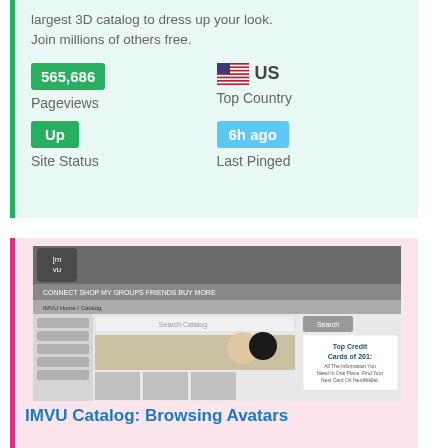largest 3D catalog to dress up your look. Join millions of others free.
565,686
Pageviews
US
Top Country
Up
Site Status
6h ago
Last Pinged
[Figure (screenshot): Screenshot of IMVU website showing catalog browsing interface with avatars and items]
IMVU Catalog: Browsing Avatars